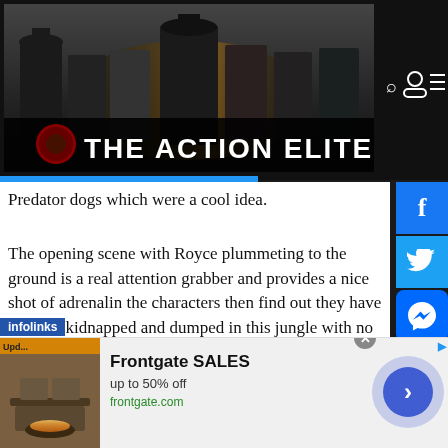[Figure (screenshot): The Action Elite website banner showing movie characters with 'THE ACTION ELITE' text logo, dark themed header with search, user, and menu icons, and Facebook/Twitter/Messenger/Plus social media buttons on the right side.]
Predator dogs which were a cool idea.
The opening scene with Royce plummeting to the ground is a real attention grabber and provides a nice shot of adrenalin the characters then find out they have all been kidnapped and dumped in this jungle with no idea why they are there.  As the story progresses and we find out that they are in fact the real
[Figure (screenshot): Advertisement for Frontgate SALES - up to 50% off, frontgate.com, with outdoor furniture thumbnail image and navigation arrow button]